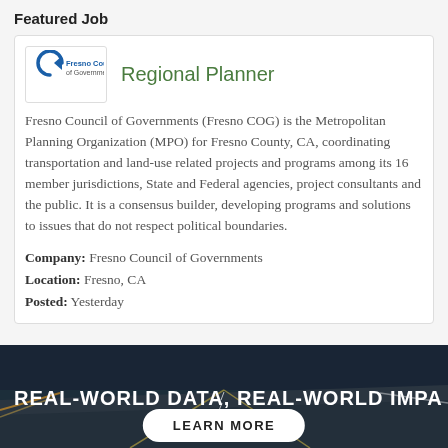Featured Job
[Figure (logo): Fresno Council of Governments logo with blue circular arrow and text]
Regional Planner
Fresno Council of Governments (Fresno COG) is the Metropolitan Planning Organization (MPO) for Fresno County, CA, coordinating transportation and land-use related projects and programs among its 16 member jurisdictions, State and Federal agencies, project consultants and the public. It is a consensus builder, developing programs and solutions to issues that do not respect political boundaries.
Company: Fresno Council of Governments
Location: Fresno, CA
Posted: Yesterday
[Figure (photo): Nighttime highway/road photo with motion blur, overlaid with text 'REAL-WORLD DATA, REAL-WORLD IMPA' and a 'LEARN MORE' button]